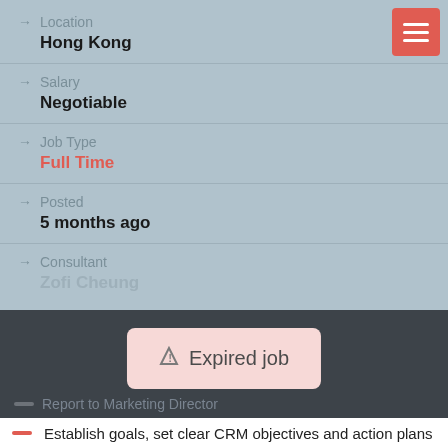Location: Hong Kong
Salary: Negotiable
Job Type: Full Time
Posted: 5 months ago
Consultant: Zofi Cheung
Expired job
Report to Marketing Director
Establish goals, set clear CRM objectives and action plans